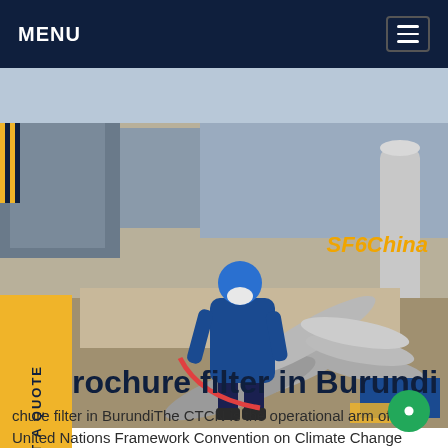MENU
[Figure (photo): A worker in blue protective suit and hard hat handling large grey gas cylinders on an industrial site outdoors. Multiple cylinders visible on the ground. SF6China watermark in lower right.]
rochure filter in Burundi
chure filter in BurundiThe CTCN is the operational arm of the United Nations Framework Convention on Climate Change (UNFCCC) Technology Mechanism and is hosted by the UN Environment in collaboration